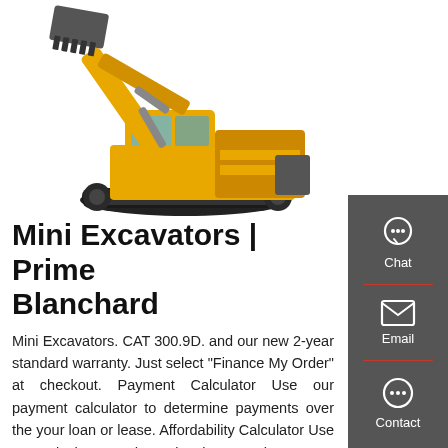[Figure (photo): Yellow and black large CAT excavator with boom arm raised, on a white background. The bucket attachment is visible at upper left.]
Mini Excavators | Prime Blanchard
Mini Excavators. CAT 300.9D. and our new 2-year standard warranty. Just select "Finance My Order" at checkout. Payment Calculator Use our payment calculator to determine payments over the your loan or lease. Affordability Calculator Use our calculator to determine how much you can afford to finance or lease.